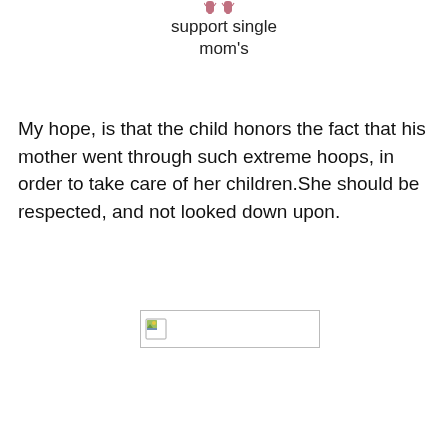support single mom's
My hope, is that the child honors the fact that his mother went through such extreme hoops, in order to take care of her children.She should be respected, and not looked down upon.
[Figure (illustration): A broken image placeholder with a small icon showing a landscape thumbnail in the top-left corner]